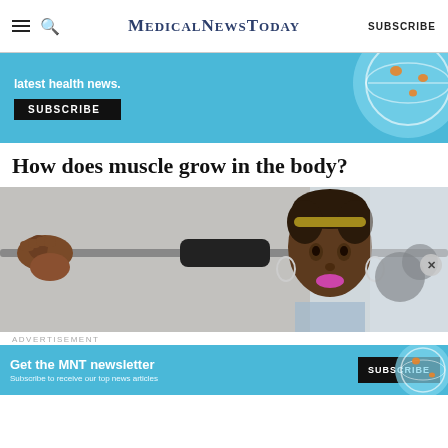MedicalNewsToday  SUBSCRIBE
[Figure (infographic): Advertisement banner with cyan/blue background showing 'latest health news.' text and SUBSCRIBE button, with decorative circular graphic on right]
How does muscle grow in the body?
[Figure (photo): Photo of a Black woman with short hair and a gold/green headband lifting a barbell on her shoulders in a gym, with fitness equipment in the background]
ADVERTISEMENT
[Figure (infographic): Advertisement banner: Get the MNT newsletter - Subscribe to receive our top news articles. SUBSCRIBE button on right, cyan background with decorative globe graphic]